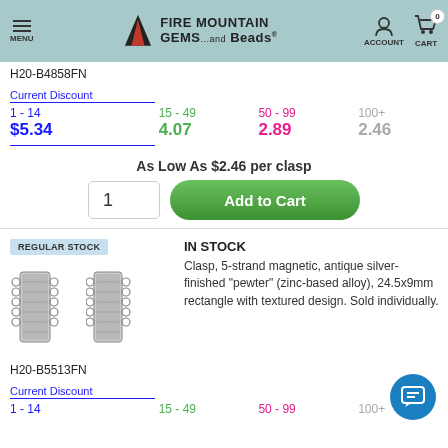MENU | FIRE MOUNTAIN GEMS and Beads | ACCOUNT | CART 0
H20-B4858FN
Current Discount
| 1 - 14 | 15 - 49 | 50 - 99 | 100+ |
| --- | --- | --- | --- |
| $5.34 | 4.07 | 2.89 | 2.46 |
As Low As $2.46 per clasp
REGULAR STOCK
IN STOCK
[Figure (photo): Two views of a 5-strand magnetic clasp, antique silver-finished pewter, 24.5x9mm rectangle with textured design]
Clasp, 5-strand magnetic, antique silver-finished "pewter" (zinc-based alloy), 24.5x9mm rectangle with textured design. Sold individually.
H20-B5513FN
Current Discount
1 - 14   15 - 49   50 - 99   100+